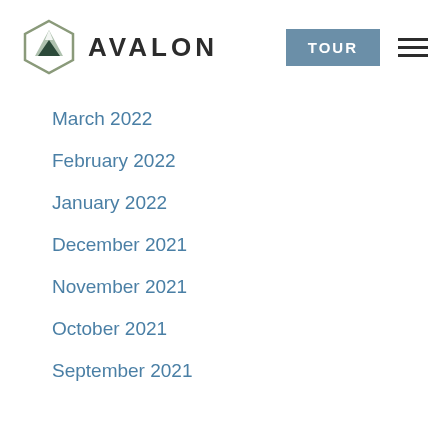AVALON | TOUR
March 2022
February 2022
January 2022
December 2021
November 2021
October 2021
September 2021